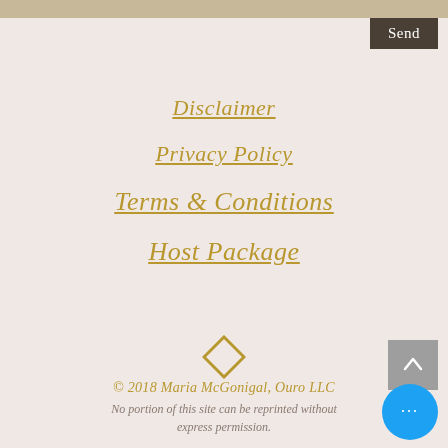Send
Disclaimer
Privacy Policy
Terms & Conditions
Host Package
[Figure (illustration): Gold diamond/rhombus decorative symbol]
© 2018 Maria McGonigal, Ouro LLC
No portion of this site can be reprinted without express permission.